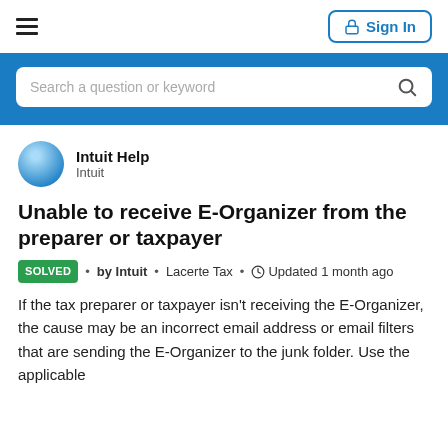Intuit Help | Sign In
[Figure (screenshot): Blue search bar with placeholder text 'Search a question or keyword' and a search icon]
Intuit Help
Intuit
Unable to receive E-Organizer from the preparer or taxpayer
SOLVED • by Intuit • Lacerte Tax • Updated 1 month ago
If the tax preparer or taxpayer isn't receiving the E-Organizer, the cause may be an incorrect email address or email filters that are sending the E-Organizer to the junk folder. Use the applicable